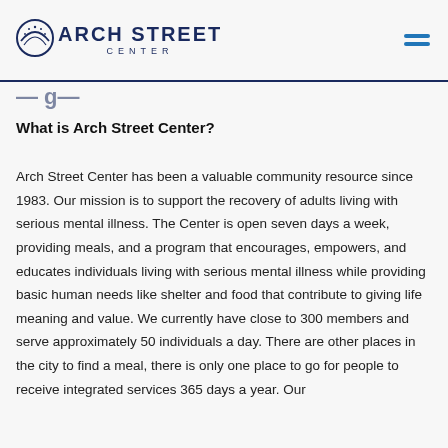ARCH STREET CENTER
What is Arch Street Center?
Arch Street Center has been a valuable community resource since 1983. Our mission is to support the recovery of adults living with serious mental illness. The Center is open seven days a week, providing meals, and a program that encourages, empowers, and educates individuals living with serious mental illness while providing basic human needs like shelter and food that contribute to giving life meaning and value. We currently have close to 300 members and serve approximately 50 individuals a day. There are other places in the city to find a meal, there is only one place to go for people to receive integrated services 365 days a year. Our